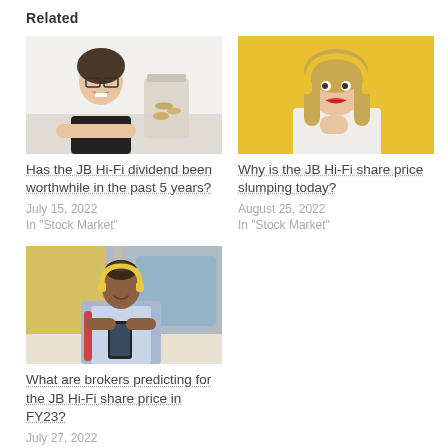Related
[Figure (photo): Woman smiling with glasses leaning on a table with a jar of coins]
Has the JB Hi-Fi dividend been worthwhile in the past 5 years?
July 15, 2022
In "Stock Market"
[Figure (photo): Woman with yellow headphones on a yellow background looking thoughtful]
Why is the JB Hi-Fi share price slumping today?
August 25, 2022
In "Stock Market"
[Figure (photo): Woman with yellow headphones on a train looking at phone]
What are brokers predicting for the JB Hi-Fi share price in FY23?
July 27, 2022
In "Stock Market"